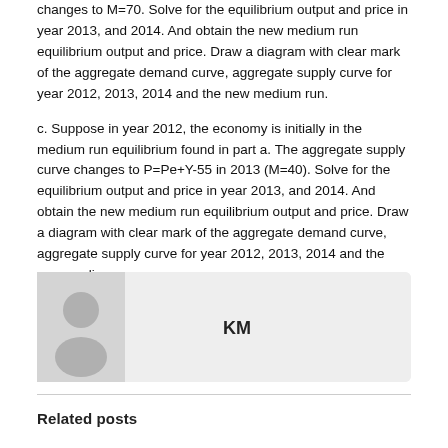changes to M=70. Solve for the equilibrium output and price in year 2013, and 2014. And obtain the new medium run equilibrium output and price. Draw a diagram with clear mark of the aggregate demand curve, aggregate supply curve for year 2012, 2013, 2014 and the new medium run.
c. Suppose in year 2012, the economy is initially in the medium run equilibrium found in part a. The aggregate supply curve changes to P=Pe+Y-55 in 2013 (M=40). Solve for the equilibrium output and price in year 2013, and 2014. And obtain the new medium run equilibrium output and price. Draw a diagram with clear mark of the aggregate demand curve, aggregate supply curve for year 2012, 2013, 2014 and the new medium run.
[Figure (other): Author avatar box with 'KM' initials displayed on a light grey background]
Related posts